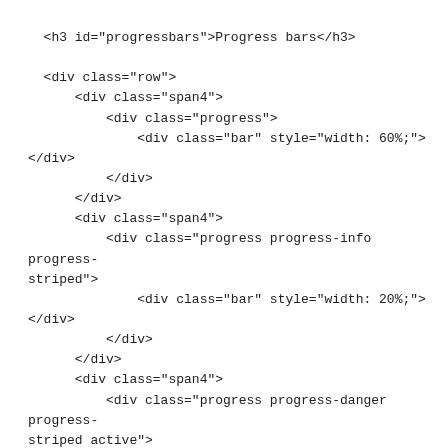<h3 id="progressbars">Progress bars</h3>

  <div class="row">
      <div class="span4">
          <div class="progress">
              <div class="bar" style="width: 60%;"></div>
          </div>
      </div>
      <div class="span4">
          <div class="progress progress-info progress-striped">
              <div class="bar" style="width: 20%;"></div>
          </div>
      </div>
      <div class="span4">
          <div class="progress progress-danger progress-striped active">
              <div class="bar" style="width: 45%"></div>
          </div>
      </div>
  </div>
  <br />


<!-- Alerts & Messages
================================================== -->